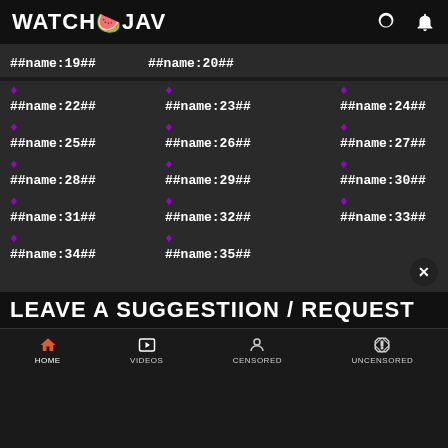WATCH JAV
##name:19## ##name:20##
♦ ##name:22## ♦ ##name:23## ♦ ##name:24##
♦ ##name:25## ♦ ##name:26## ♦ ##name:27##
♦ ##name:28## ♦ ##name:29## ♦ ##name:30##
♦ ##name:31## ♦ ##name:32## ♦ ##name:33##
♦ ##name:34## ♦ ##name:35##
LEAVE A SUGGESTIION / REQUEST
HOME  VIDEOS  CENSORED  UNCENSORED